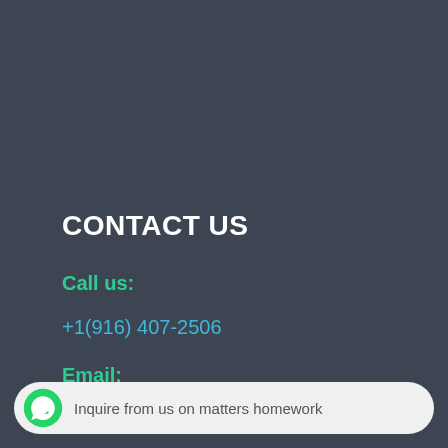CONTACT US
Call us:
+1(916) 407-2506
Email:
support@impressstudy.com
Online Chat 24/7
Inquire from us on matters homework